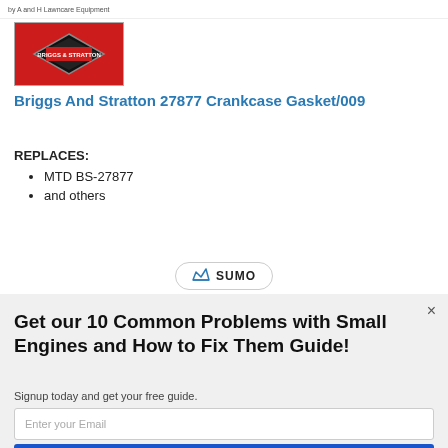by A and H Lawncare Equipment
[Figure (logo): Briggs and Stratton red logo box with diamond shaped emblem]
Briggs And Stratton 27877 Crankcase Gasket/009
REPLACES:
MTD BS-27877
and others
[Figure (logo): SUMO badge with crown icon]
Get our 10 Common Problems with Small Engines and How to Fix Them Guide!
Signup today and get your free guide.
Enter your Email
Subscribe Now